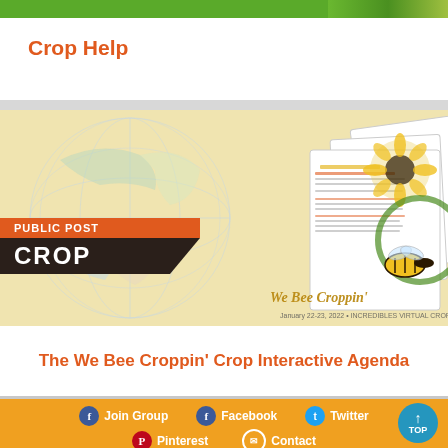Crop Help
[Figure (illustration): Promotional image for 'The We Bee Croppin' Crop Interactive Agenda' showing pages of the agenda with bee and sunflower graphics, globe background, and PUBLIC POST CROP badge]
The We Bee Croppin' Crop Interactive Agenda
Join Group  Facebook  Twitter  Pinterest  Contact  TOP